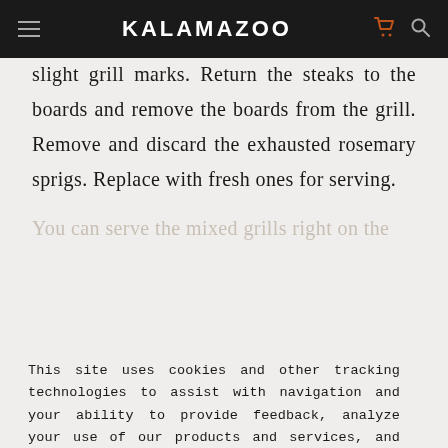KALAMAZOO
Grill for about 2 minutes per side to get slight grill marks. Return the steaks to the boards and remove the boards from the grill. Remove and discard the exhausted rosemary sprigs. Replace with fresh ones for serving.
You can serve the mixed grills right on the
This site uses cookies and other tracking technologies to assist with navigation and your ability to provide feedback, analyze your use of our products and services, and assist with our promotional and marketing efforts. Privacy Policy
ACCEPT COOKIES